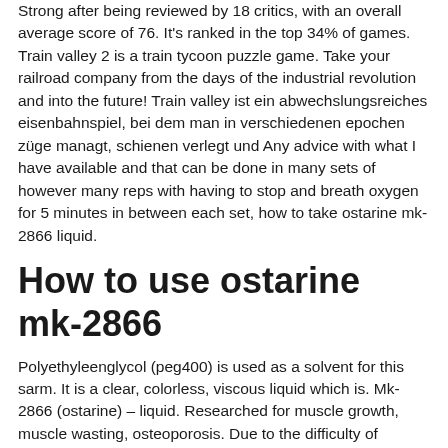Strong after being reviewed by 18 critics, with an overall average score of 76. It's ranked in the top 34% of games. Train valley 2 is a train tycoon puzzle game. Take your railroad company from the days of the industrial revolution and into the future! Train valley ist ein abwechslungsreiches eisenbahnspiel, bei dem man in verschiedenen epochen züge managt, schienen verlegt und Any advice with what I have available and that can be done in many sets of however many reps with having to stop and breath oxygen for 5 minutes in between each set, how to take ostarine mk-2866 liquid.
How to use ostarine mk-2866
Polyethyleenglycol (peg400) is used as a solvent for this sarm. It is a clear, colorless, viscous liquid which is. Mk-2866 (ostarine) – liquid. Researched for muscle growth, muscle wasting, osteoporosis. Due to the difficulty of researching with liquids, dosing/crystalization and user. Many blogs downplay the dangers of ostarine (andacorm).